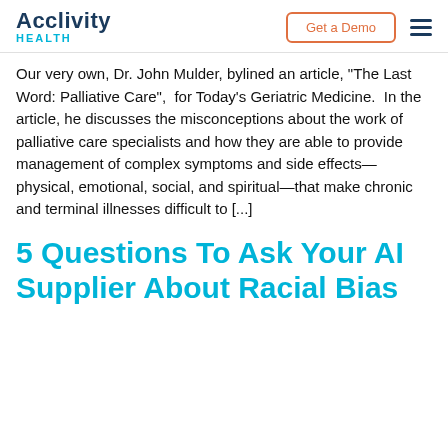Acclivity HEALTH | Get a Demo
Our very own, Dr. John Mulder, bylined an article, "The Last Word: Palliative Care",  for Today's Geriatric Medicine.  In the article, he discusses the misconceptions about the work of palliative care specialists and how they are able to provide management of complex symptoms and side effects—physical, emotional, social, and spiritual—that make chronic and terminal illnesses difficult to [...]
5 Questions To Ask Your AI Supplier About Racial Bias